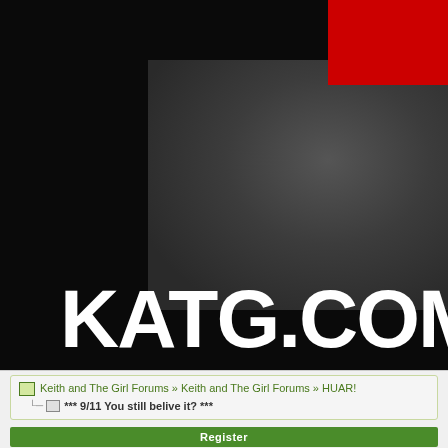[Figure (screenshot): KATG.com website header banner with dark background, partial photo of a person in a gray shirt with red rectangle in top-right corner, and large white bold KATG.COM text at bottom]
Keith and The Girl Forums » Keith and The Girl Forums » HUAR!
*** 9/11 You still belive it? ***
Register
HUAR! Command Center HUAR! news